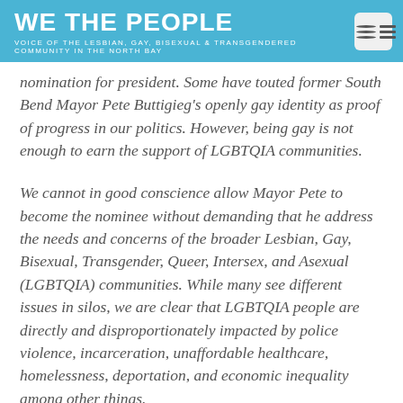WE THE PEOPLE
VOICE OF THE LESBIAN, GAY, BISEXUAL & TRANSGENDERED COMMUNITY IN THE NORTH BAY
nomination for president. Some have touted former South Bend Mayor Pete Buttigieg's openly gay identity as proof of progress in our politics. However, being gay is not enough to earn the support of LGBTQIA communities.
We cannot in good conscience allow Mayor Pete to become the nominee without demanding that he address the needs and concerns of the broader Lesbian, Gay, Bisexual, Transgender, Queer, Intersex, and Asexual (LGBTQIA) communities. While many see different issues in silos, we are clear that LGBTQIA people are directly and disproportionately impacted by police violence, incarceration, unaffordable healthcare, homelessness, deportation, and economic inequality among other things.
(partial text cut off at bottom)